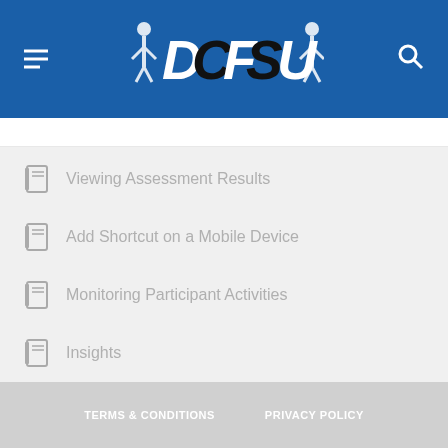DCFSU
Viewing Assessment Results
Add Shortcut on a Mobile Device
Monitoring Participant Activities
Insights
TERMS & CONDITIONS   PRIVACY POLICY